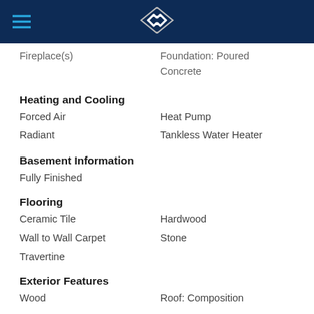Fireplace(s)   Foundation: Poured Concrete
Heating and Cooling
Forced Air   Heat Pump
Radiant   Tankless Water Heater
Basement Information
Fully Finished
Flooring
Ceramic Tile   Hardwood
Wall to Wall Carpet   Stone
Travertine
Exterior Features
Wood   Roof: Composition